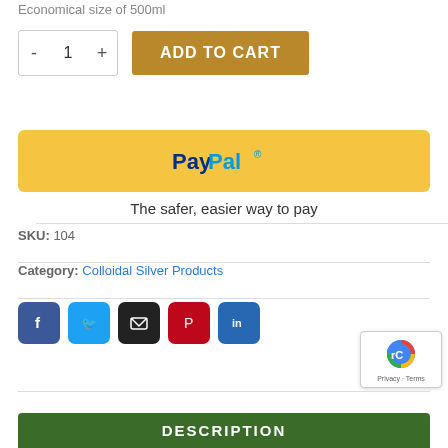Economical size of 500ml
[Figure (screenshot): Quantity selector with minus and plus buttons showing value 1, and ADD TO CART button in gold/brown color]
[Figure (screenshot): PayPal payment banner in yellow with PayPal logo and text 'The safer, easier way to pay']
SKU: 104
Category: Colloidal Silver Products
[Figure (screenshot): Social sharing icons: Facebook, Twitter, Email, Pinterest, LinkedIn]
[Figure (screenshot): reCAPTCHA badge with Privacy and Terms links]
DESCRIPTION